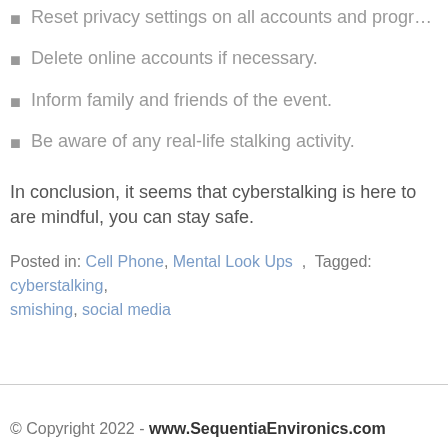Reset privacy settings on all accounts and programs/websites.
Delete online accounts if necessary.
Inform family and friends of the event.
Be aware of any real-life stalking activity.
In conclusion, it seems that cyberstalking is here to stay. If you are mindful, you can stay safe.
Posted in: Cell Phone, Mental Look Ups , Tagged: cyberstalking, smishing, social media
© Copyright 2022 - www.SequentiaEnvironics.com